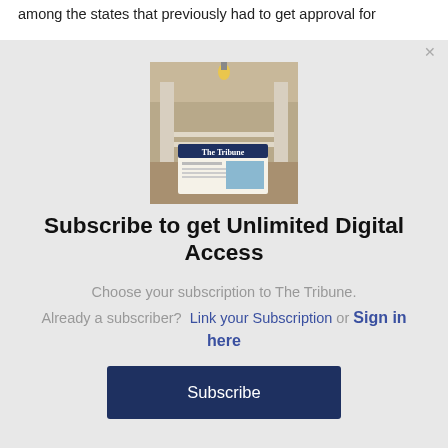among the states that previously had to get approval for
[Figure (photo): Photo of The Tribune newspaper on a porch/entrance of a house]
Subscribe to get Unlimited Digital Access
Choose your subscription to The Tribune.
Already a subscriber?  Link your Subscription or Sign in here